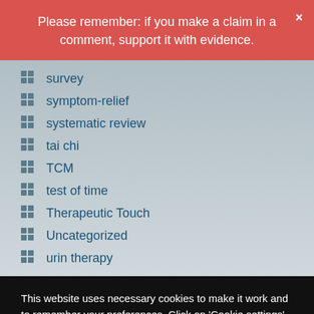Please remember: if you make a claim in a comment, support it with evidence.
survey
symptom-relief
systematic review
tai chi
TCM
test of time
Therapeutic Touch
Uncategorized
urin therapy
This website uses necessary cookies to make it work and to remember your preferences. Click on 'Cookie settings' to control your consent for other cookies or click on 'Accept all' to consent to the use of all cookies. By continuing to browse this website you are agreeing to our Privacy policy.
Accept all | Cookie settings | Privacy policy